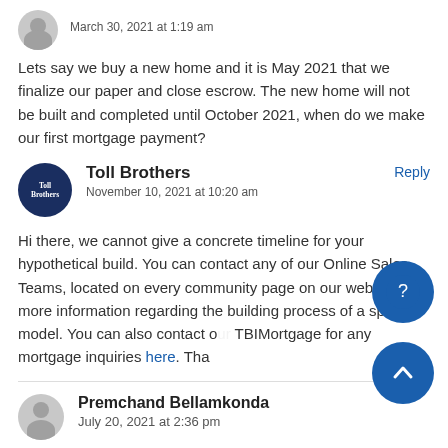March 30, 2021 at 1:19 am
Lets say we buy a new home and it is May 2021 that we finalize our paper and close escrow. The new home will not be built and completed until October 2021, when do we make our first mortgage payment?
Toll Brothers — November 10, 2021 at 10:20 am — Reply
Hi there, we cannot give a concrete timeline for your hypothetical build. You can contact any of our Online Sales Teams, located on every community page on our website, for more information regarding the building process of a specific model. You can also contact our TBIMortgage for any mortgage inquiries here. Tha
Premchand Bellamkonda — July 20, 2021 at 2:36 pm